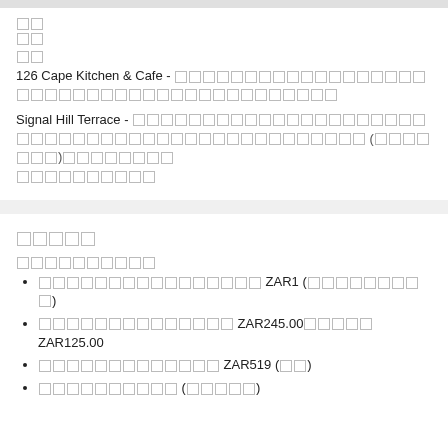□□
□□
□□
126 Cape Kitchen & Cafe - □□□□□□□□□□□□□□□□□□□□□□□□□□□□□□□□□□□□□□□□□□□□□
Signal Hill Terrace - □□□□□□□□□□□□□□□□□□□□□□□□□□□□□□□□□□□□□□□□□□□□□□□□ (□□□□□□□)□□□□□□□□□□□□□□□□□□
□□□□□
□□□□□□□□□□
□□□□□□□□□□□□□□□□ ZAR1 (□□□□□□□□□)
□□□□□□□□□□□□□□ ZAR245.00□□□□□ ZAR125.00
□□□□□□□□□□□□□□ ZAR519 (□□)
□□□□□□□□□□ (□□□□□)